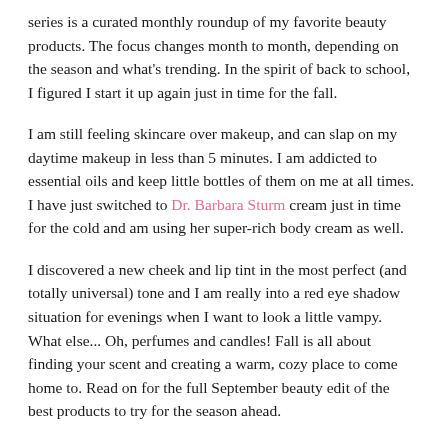series is a curated monthly roundup of my favorite beauty products. The focus changes month to month, depending on the season and what's trending. In the spirit of back to school, I figured I start it up again just in time for the fall.
I am still feeling skincare over makeup, and can slap on my daytime makeup in less than 5 minutes. I am addicted to essential oils and keep little bottles of them on me at all times. I have just switched to Dr. Barbara Sturm cream just in time for the cold and am using her super-rich body cream as well.
I discovered a new cheek and lip tint in the most perfect (and totally universal) tone and I am really into a red eye shadow situation for evenings when I want to look a little vampy. What else... Oh, perfumes and candles! Fall is all about finding your scent and creating a warm, cozy place to come home to. Read on for the full September beauty edit of the best products to try for the season ahead.